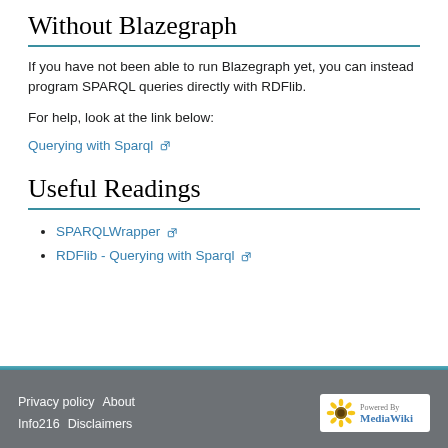Without Blazegraph
If you have not been able to run Blazegraph yet, you can instead program SPARQL queries directly with RDFlib.
For help, look at the link below:
Querying with Sparql [external link]
Useful Readings
SPARQLWrapper [external link]
RDFlib - Querying with Sparql [external link]
Privacy policy   About   Info216   Disclaimers   Powered by MediaWiki